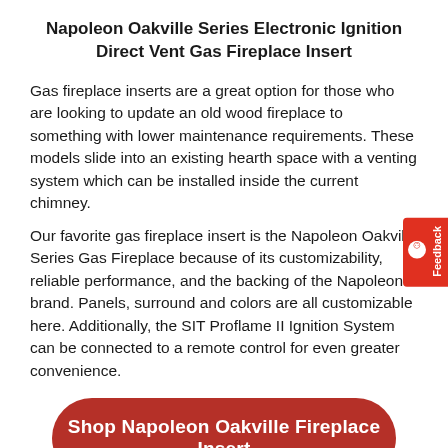Napoleon Oakville Series Electronic Ignition Direct Vent Gas Fireplace Insert
Gas fireplace inserts are a great option for those who are looking to update an old wood fireplace to something with lower maintenance requirements. These models slide into an existing hearth space with a venting system which can be installed inside the current chimney.
Our favorite gas fireplace insert is the Napoleon Oakville Series Gas Fireplace because of its customizability, reliable performance, and the backing of the Napoleon brand. Panels, surround and colors are all customizable here. Additionally, the SIT Proflame II Ignition System can be connected to a remote control for even greater convenience.
Shop Napoleon Oakville Fireplace Insert